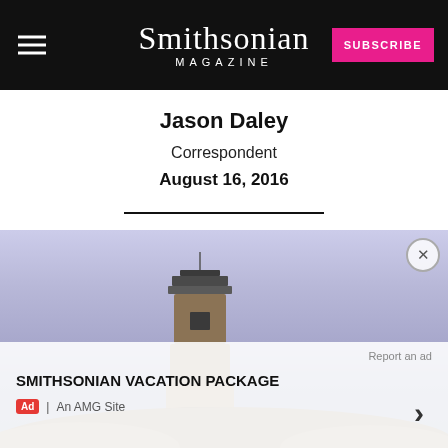Smithsonian Magazine | SUBSCRIBE
Jason Daley
Correspondent
August 16, 2016
[Figure (photo): Stone observation tower against a lavender/purple dusk sky, with rocky terrain at the base]
SMITHSONIAN VACATION PACKAGE
Ad | An AMG Site
Report an ad